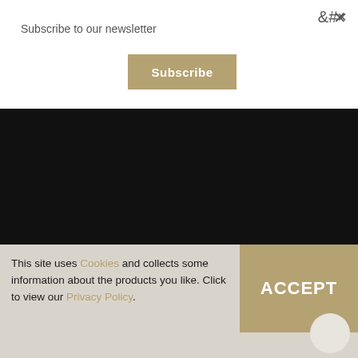×
Subscribe to our newsletter
Subscribe
WISHLIST
BLOG
TERMS
PRIVACY
This site uses Cookies and collects some information about the products you like. Click to view our Privacy Policy.
ACCEPT